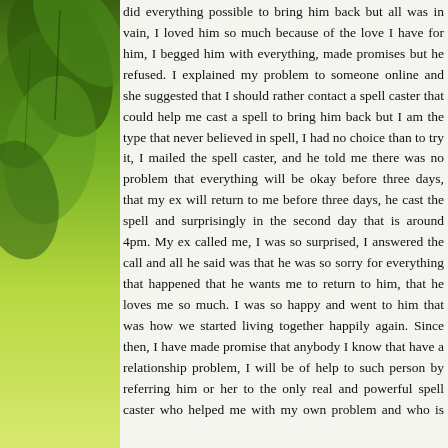[Figure (illustration): Green leaves background sidebar on the left side of the page, with gradient from dark green at top to yellow-green at bottom]
did everything possible to bring him back but all was in vain, I loved him so much because of the love I have for him, I begged him with everything, made promises but he refused. I explained my problem to someone online and she suggested that I should rather contact a spell caster that could help me cast a spell to bring him back but I am the type that never believed in spell, I had no choice than to try it, I mailed the spell caster, and he told me there was no problem that everything will be okay before three days, that my ex will return to me before three days, he cast the spell and surprisingly in the second day that is around 4pm. My ex called me, I was so surprised, I answered the call and all he said was that he was so sorry for everything that happened that he wants me to return to him, that he loves me so much. I was so happy and went to him that was how we started living together happily again. Since then, I have made promise that anybody I know that have a relationship problem, I will be of help to such person by referring him or her to the only real and powerful spell caster who helped me with my own problem and who is different from all the fake ones out there. Anybody could need the help of the spell caster, his email: drosemudiamenspellhome@gmail.com you can email him if you need his assistance in your relationship or anything. I CAN NEVER STOP TALKING ABOUT HIM, HIS EMAIL IS drosemudiamenspellhome@gmail.com CONTACT HIM NOW FOR SOLUTION TO ALL YOUR PROBLEM
Reply